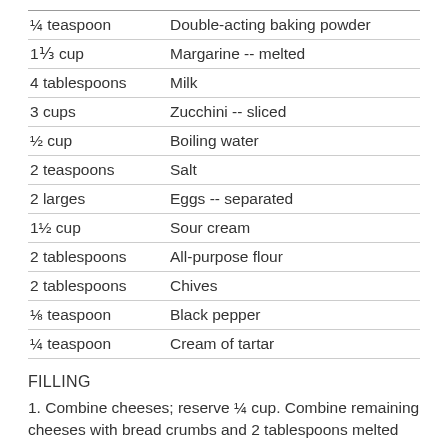| Amount | Ingredient |
| --- | --- |
| ¼ teaspoon | Double-acting baking powder |
| 1⅓ cup | Margarine -- melted |
| 4 tablespoons | Milk |
| 3 cups | Zucchini -- sliced |
| ½ cup | Boiling water |
| 2 teaspoons | Salt |
| 2 larges | Eggs -- separated |
| 1½ cup | Sour cream |
| 2 tablespoons | All-purpose flour |
| 2 tablespoons | Chives |
| ⅛ teaspoon | Black pepper |
| ¼ teaspoon | Cream of tartar |
FILLING
1. Combine cheeses; reserve ¼ cup. Combine remaining cheeses with bread crumbs and 2 tablespoons melted